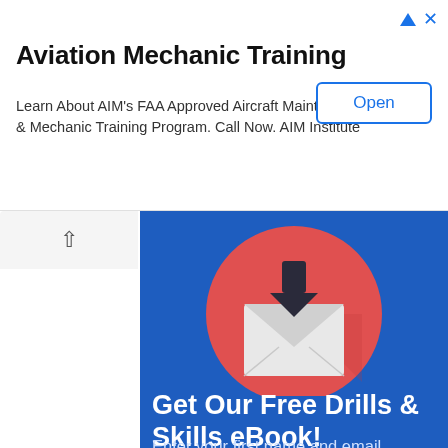[Figure (screenshot): Advertisement banner with title 'Aviation Mechanic Training', body text, and an Open button]
Aviation Mechanic Training
Learn About AIM's FAA Approved Aircraft Maintenance & Mechanic Training Program. Call Now. AIM Institute
[Figure (illustration): Blue promotional card with red circle containing envelope/download icon]
Get Our Free Drills & Skills eBook!
Enter your first name and email address below to get our free eBook that is packed with good information and